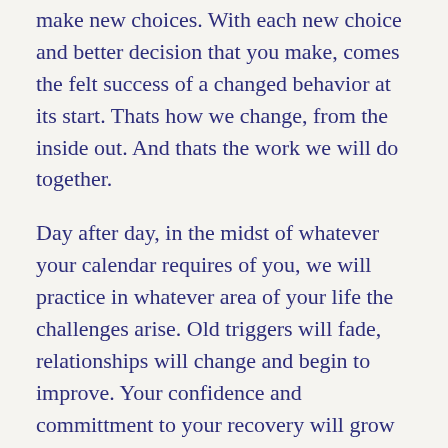make new choices.  With each new choice and better decision that you make, comes the felt success of a changed behavior at its start.  Thats how we change, from the inside out.  And thats the work we will do together.
Day after day, in the midst of whatever your calendar requires of you, we will practice in whatever area of your life the challenges arise.  Old triggers will fade, relationships will change and begin to improve. Your confidence and committment to your recovery will grow with every success.
So, whether you are just leaving treatment, or beginning again after relapse, and regardless of  background or circumstance, age or demographic, I will support you in every way that I can, in the single greatest